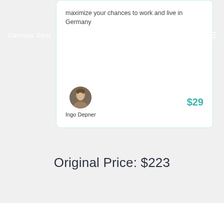maximize your chances to work and live in Germany
[Figure (photo): Circular avatar photo of Ingo Depner]
Ingo Depner
$29
Original Price: $223